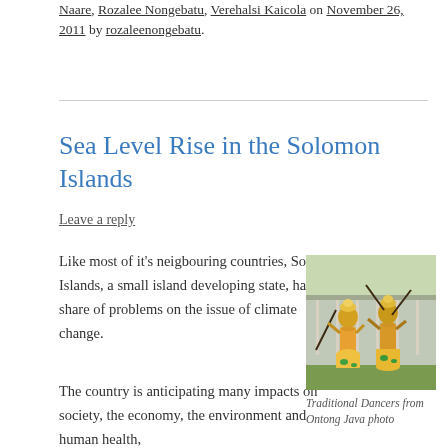Naare, Rozalee Nongebatu, Verehalsi Kaicola on November 26, 2011 by rozaleenongebatu.
Sea Level Rise in the Solomon Islands
Leave a reply
Like most of it's neigbouring countries, Solomon Islands, a small island developing state, has it's share of problems on the issue of climate change.
[Figure (photo): Traditional dancers from Ontong Java in yellow traditional dress performing with sticks]
Traditional Dancers from Ontong Java photo
The country is anticipating many impacts on society, the economy, the environment and human health,